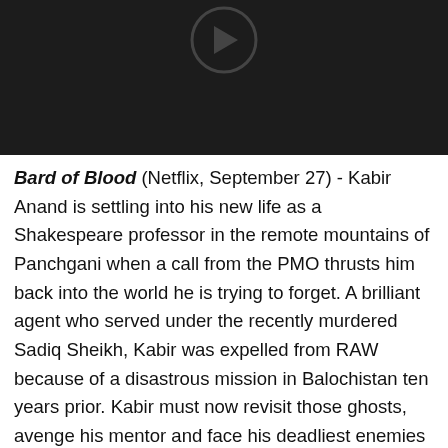[Figure (photo): Dark/black image with a faint circular icon at the top center, appears to be a video thumbnail with a play button or logo on a black background]
Bard of Blood (Netflix, September 27) - Kabir Anand is settling into his new life as a Shakespeare professor in the remote mountains of Panchgani when a call from the PMO thrusts him back into the world he is trying to forget. A brilliant agent who served under the recently murdered Sadiq Sheikh, Kabir was expelled from RAW because of a disastrous mission in Balochistan ten years prior. Kabir must now revisit those ghosts, avenge his mentor and face his deadliest enemies back in Balochistan while racing